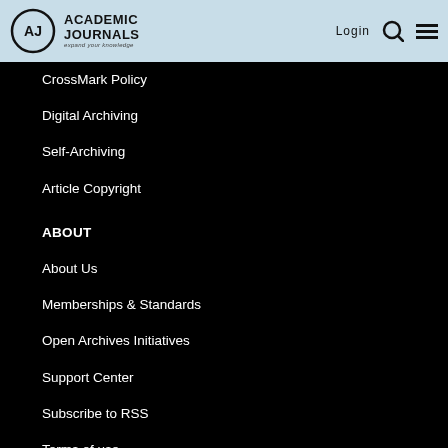Academic Journals — expand your knowledge | Login
CrossMark Policy
Digital Archiving
Self-Archiving
Article Copyright
ABOUT
About Us
Memberships & Standards
Open Archives Initiatives
Support Center
Subscribe to RSS
Terms of use
Contact